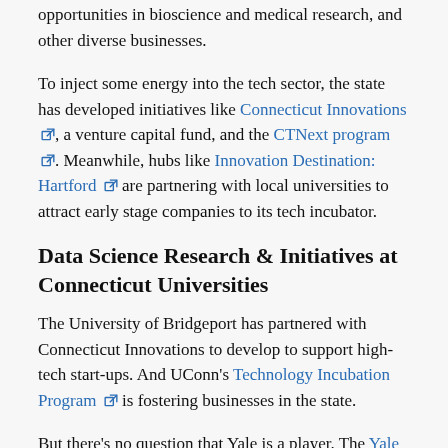opportunities in bioscience and medical research, and other diverse businesses.
To inject some energy into the tech sector, the state has developed initiatives like Connecticut Innovations, a venture capital fund, and the CTNext program. Meanwhile, hubs like Innovation Destination: Hartford are partnering with local universities to attract early stage companies to its tech incubator.
Data Science Research & Initiatives at Connecticut Universities
The University of Bridgeport has partnered with Connecticut Innovations to develop to support high-tech start-ups. And UConn's Technology Incubation Program is fostering businesses in the state.
But there's no question that Yale is a player. The Yale University ...